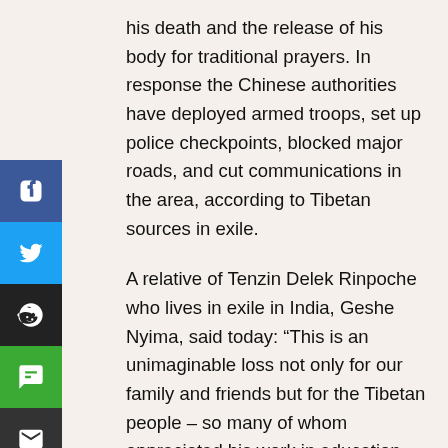his death and the release of his body for traditional prayers. In response the Chinese authorities have deployed armed troops, set up police checkpoints, blocked major roads, and cut communications in the area, according to Tibetan sources in exile.
A relative of Tenzin Delek Rinpoche who lives in exile in India, Geshe Nyima, said today: “This is an unimaginable loss not only for our family and friends but for the Tibetan people – so many of whom appreciated his work in education and protecting our religion and environment. Tenzin Delek Rinpoche was an innocent monk who suffered over 13 years of unjust imprisonment,